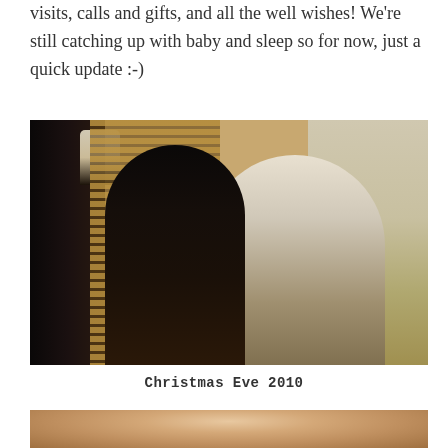visits, calls and gifts, and all the well wishes! We're still catching up with baby and sleep so for now, just a quick update :-)
[Figure (photo): A couple sitting together in a hotel or apartment room on Christmas Eve 2010. A woman in a dark dress and a man in a light blue shirt are seated, smiling, with window blinds and a balcony visible in the background.]
Christmas Eve 2010
[Figure (photo): Partial view of a baby or person's face, cropped at the bottom of the page.]